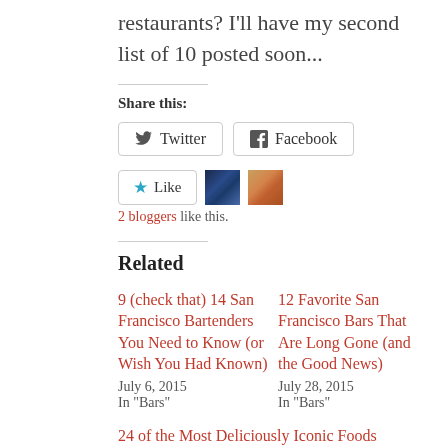restaurants?  I'll have my second list of 10 posted soon...
Share this:
[Figure (other): Twitter and Facebook share buttons]
[Figure (other): Like button with two blogger avatars]
2 bloggers like this.
Related
9 (check that) 14 San Francisco Bartenders You Need to Know (or Wish You Had Known)
July 6, 2015
In "Bars"
12 Favorite San Francisco Bars That Are Long Gone (and the Good News)
July 28, 2015
In "Bars"
24 of the Most Deliciously Iconic Foods